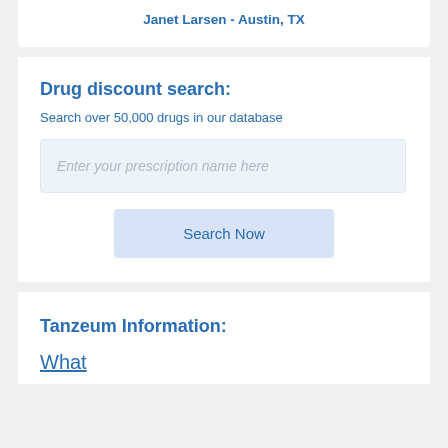Janet Larsen - Austin, TX
Drug discount search:
Search over 50,000 drugs in our database
Enter your prescription name here
Search Now
Tanzeum Information:
What